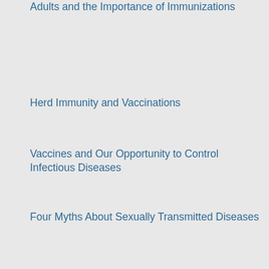Adults and the Importance of Immunizations
Herd Immunity and Vaccinations
Vaccines and Our Opportunity to Control Infectious Diseases
Four Myths About Sexually Transmitted Diseases
STD Awareness Week: A Matter of Life and Health